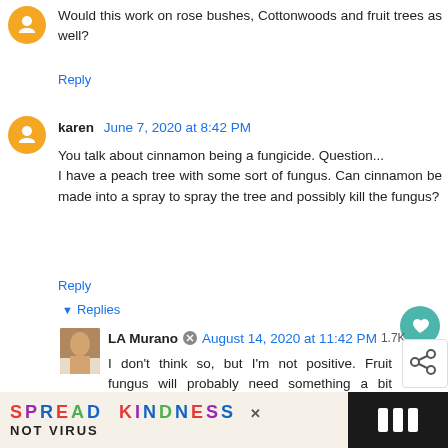Would this work on rose bushes, Cottonwoods and fruit trees as well?
Reply
karen  June 7, 2020 at 8:42 PM
You talk about cinnamon being a fungicide. Question... I have a peach tree with some sort of fungus. Can cinnamon be made into a spray to spray the tree and possibly kill the fungus?
Reply
▼ Replies
LA Murano  August 14, 2020 at 11:42 PM  1.7K
I don't think so, but I'm not positive. Fruit fungus will probably need something a bit stronger.
[Figure (screenshot): Ad banner reading SPREAD KINDNESS NOT VIRUS with colored letters]